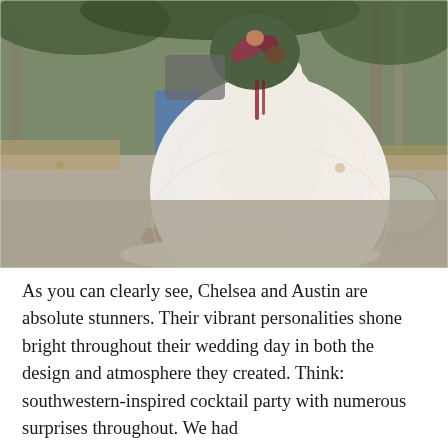[Figure (photo): Wedding photo of a couple standing outdoors on a gravel path surrounded by trees and fallen leaves. The groom wears blue jeans and brown cowboy boots. The bride wears an elaborate white lace wedding dress with a long train, holding a large floral bouquet with greenery and dark red flowers. A large grey rock is visible in the background.]
As you can clearly see, Chelsea and Austin are absolute stunners. Their vibrant personalities shone bright throughout their wedding day in both the design and atmosphere they created. Think: southwestern-inspired cocktail party with numerous surprises throughout. We had